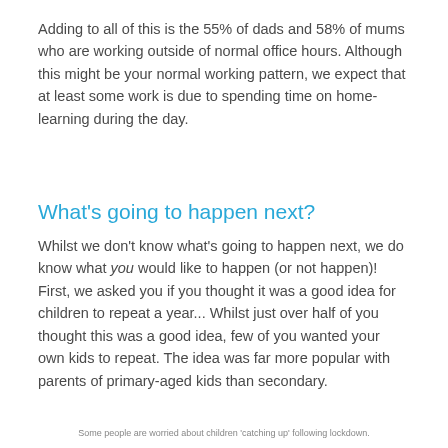Adding to all of this is the 55% of dads and 58% of mums who are working outside of normal office hours. Although this might be your normal working pattern, we expect that at least some work is due to spending time on home-learning during the day.
What's going to happen next?
Whilst we don't know what's going to happen next, we do know what you would like to happen (or not happen)! First, we asked you if you thought it was a good idea for children to repeat a year... Whilst just over half of you thought this was a good idea, few of you wanted your own kids to repeat. The idea was far more popular with parents of primary-aged kids than secondary.
Some people are worried about children 'catching up' following lockdown.